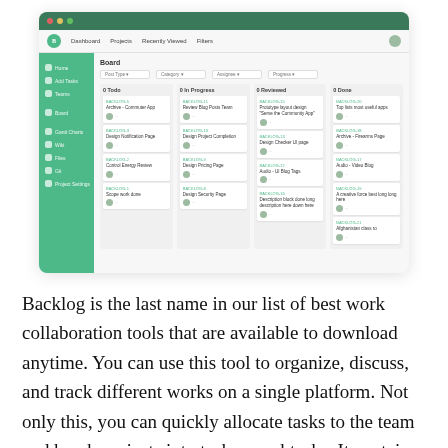[Figure (screenshot): Screenshot of the Backlog project management application showing a kanban board with a green sidebar navigation and four columns: To Do, In Progress, Reviewed, and Done. Each column contains task cards with tags, titles, and user avatars.]
Backlog is the last name in our list of best work collaboration tools that are available to download anytime. You can use this tool to organize, discuss, and track different works on a single platform. Not only this, you can quickly allocate tasks to the team and break projects into tasks or subtasks. It contains all the attributes of the best work management solution